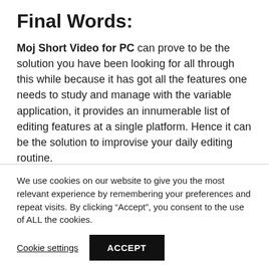Final Words:
Moj Short Video for PC can prove to be the solution you have been looking for all through this while because it has got all the features one needs to study and manage with the variable application, it provides an innumerable list of editing features at a single platform. Hence it can be the solution to improvise your daily editing routine.
We use cookies on our website to give you the most relevant experience by remembering your preferences and repeat visits. By clicking “Accept”, you consent to the use of ALL the cookies.
Cookie settings  ACCEPT